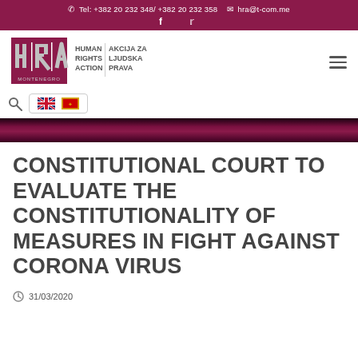Tel: +382 20 232 348/ +382 20 232 358   hra@t-com.me
[Figure (logo): HRA – Human Rights Action Montenegro logo with text in English and Montenegrin]
Search and language flags (EN, ME)
CONSTITUTIONAL COURT TO EVALUATE THE CONSTITUTIONALITY OF MEASURES IN FIGHT AGAINST CORONA VIRUS
31/03/2020